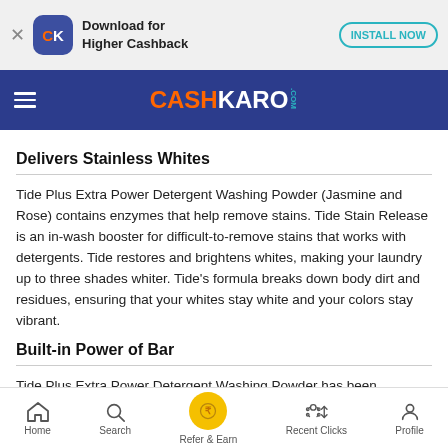[Figure (screenshot): App download banner with CashKaro app icon, 'Download for Higher Cashback' text and 'INSTALL NOW' button]
[Figure (logo): CashKaro.com logo on dark blue navigation bar with hamburger menu]
Delivers Stainless Whites
Tide Plus Extra Power Detergent Washing Powder (Jasmine and Rose) contains enzymes that help remove stains. Tide Stain Release is an in-wash booster for difficult-to-remove stains that works with detergents. Tide restores and brightens whites, making your laundry up to three shades whiter. Tide's formula breaks down body dirt and residues, ensuring that your whites stay white and your colors stay vibrant.
Built-in Power of Bar
Tide Plus Extra Power Detergent Washing Powder has been enhanced with the power of bar to give customers stunning brightness on their fabrics. It eliminates dirt from washed clothes as well, providing an even better cleaning. The washing powder's enzymatic combination facilitates the removal of even
Home   Search   Refer & Earn   Recent Clicks   Profile